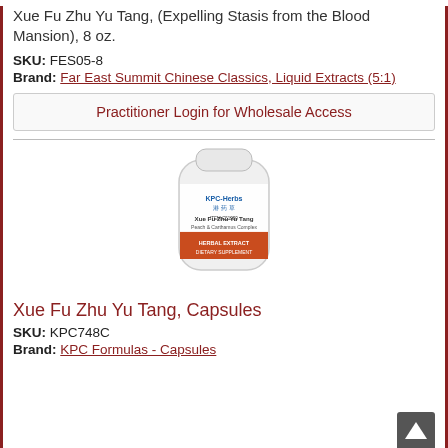Xue Fu Zhu Yu Tang, (Expelling Stasis from the Blood Mansion), 8 oz.
SKU: FES05-8
Brand: Far East Summit Chinese Classics, Liquid Extracts (5:1)
Practitioner Login for Wholesale Access
[Figure (photo): Bottle of KPC-Herbs Xue Fu Zhu Yu Tang capsules, a herbal extract dietary supplement.]
Xue Fu Zhu Yu Tang, Capsules
SKU: KPC748C
Brand: KPC Formulas - Capsules